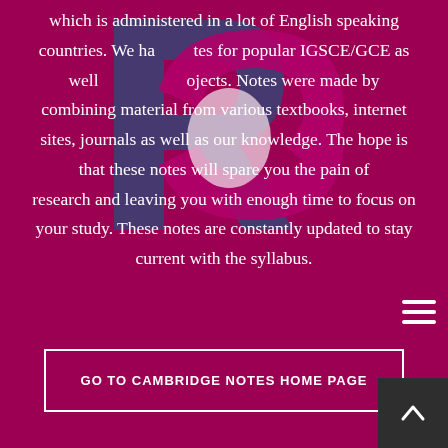[Figure (logo): Revision Online logo — overlapping R and C letterforms in dark blue and magenta/pink on white background, partially transparent watermark]
which is administered in a lot of English speaking countries. We have notes for popular IGSCE/GCE as well as other subjects. Notes were made by combining material from various textbooks, internet sites, journals as well as our knowledge. The hope is that these notes will spare you the pain of research and leaving you with enough time to focus on your study. These notes are constantly updated to stay current with the syllabus.
GO TO CAMBRIDGE NOTES HOME PAGE